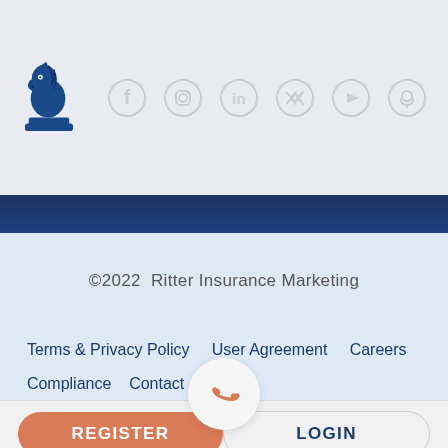[Figure (logo): Blue chess knight piece logo for Ritter Insurance Marketing]
[Figure (infographic): Social media icons: Facebook, Instagram, LinkedIn, Twitter/X, YouTube, and one more icon, all in light gray]
©2022  Ritter Insurance Marketing
Terms & Privacy Policy    User Agreement    Careers
Compliance    Contact
[Figure (illustration): White circular phone/call button with orange telephone handset icon]
REGISTER
LOGIN